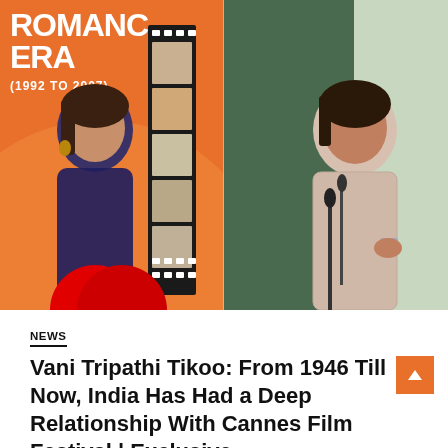[Figure (photo): Two women side by side: left woman in blue outfit stands in front of orange background with film strip and Bollywood movie posters showing 'ROMANCE ERA (1992 TO 2007)'; right woman in light-colored saree speaks at a microphone at a podium.]
NEWS
Vani Tripathi Tikoo: From 1946 Till Now, India Has Had a Deep Relationship With Cannes Film Festival | Exclusive
bollyadmin  •  May 28, 2022